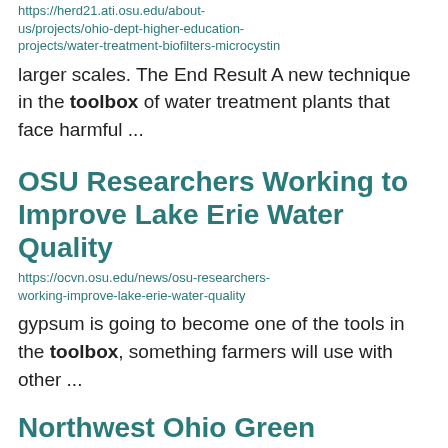https://herd21.ati.osu.edu/about-us/projects/ohio-dept-higher-education-projects/water-treatment-biofilters-microcystin
larger scales. The End Result A new technique in the toolbox of water treatment plants that face harmful ...
OSU Researchers Working to Improve Lake Erie Water Quality
https://ocvn.osu.edu/news/osu-researchers-working-improve-lake-erie-water-quality
gypsum is going to become one of the tools in the toolbox, something farmers will use with other ...
Northwest Ohio Green Industry